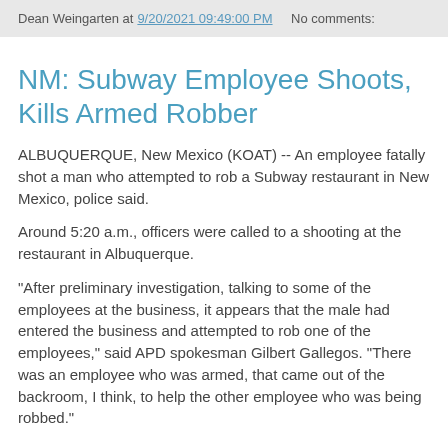Dean Weingarten at 9/20/2021 09:49:00 PM    No comments:
NM: Subway Employee Shoots, Kills Armed Robber
ALBUQUERQUE, New Mexico (KOAT) -- An employee fatally shot a man who attempted to rob a Subway restaurant in New Mexico, police said.
Around 5:20 a.m., officers were called to a shooting at the restaurant in Albuquerque.
"After preliminary investigation, talking to some of the employees at the business, it appears that the male had entered the business and attempted to rob one of the employees," said APD spokesman Gilbert Gallegos. "There was an employee who was armed, that came out of the backroom, I think, to help the other employee who was being robbed."